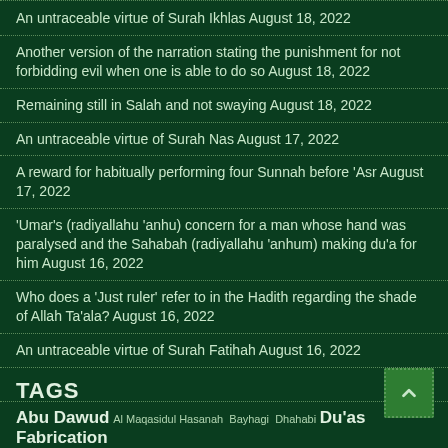An untraceable virtue of Surah Ikhlas August 18, 2022
Another version of the narration stating the punishment for not forbidding evil when one is able to do so August 18, 2022
Remaining still in Salah and not swaying August 18, 2022
An untraceable virtue of Surah Nas August 17, 2022
A reward for habitually performing four Sunnah before 'Asr August 17, 2022
'Umar's (radiyallahu 'anhu) concern for a man whose hand was paralysed and the Sahabah (radiyallahu 'anhum) making du'a for him August 16, 2022
Who does a 'Just ruler' refer to in the Hadith regarding the shade of Allah Ta'ala? August 16, 2022
An untraceable virtue of Surah Fatihah August 16, 2022
TAGS
Abu Dawud Al Maqasidul Hasanah Bayhagi Dhahabi Du'as Fabrication